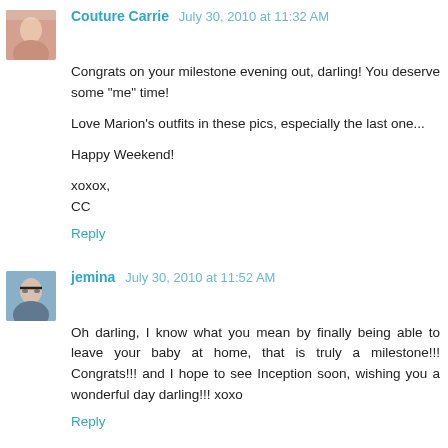Couture Carrie July 30, 2010 at 11:32 AM
Congrats on your milestone evening out, darling! You deserve some "me" time!

Love Marion's outfits in these pics, especially the last one...

Happy Weekend!

xoxox,
CC
Reply
jemina July 30, 2010 at 11:52 AM
Oh darling, I know what you mean by finally being able to leave your baby at home, that is truly a milestone!!! Congrats!!! and I hope to see Inception soon, wishing you a wonderful day darling!!! xoxo
Reply